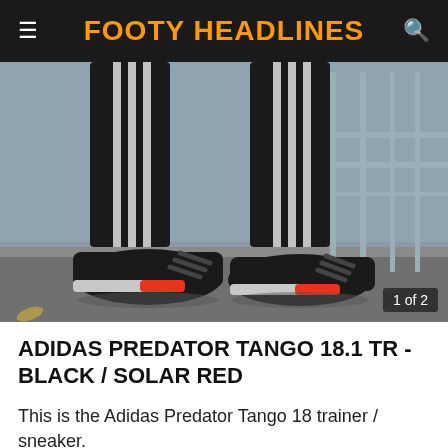FOOTY HEADLINES
[Figure (photo): Close-up photo of a person's legs wearing black Adidas Predator Tango 18.1 TR trainers with solar red accents on the sole, standing on a pavement. The person is wearing black Adidas tracksuit trousers with three white stripes. A blurred urban background with a metal railing is visible. A badge reading '1 of 2' appears in the bottom-right corner.]
ADIDAS PREDATOR TANGO 18.1 TR - BLACK / SOLAR RED
This is the Adidas Predator Tango 18 trainer / sneaker.